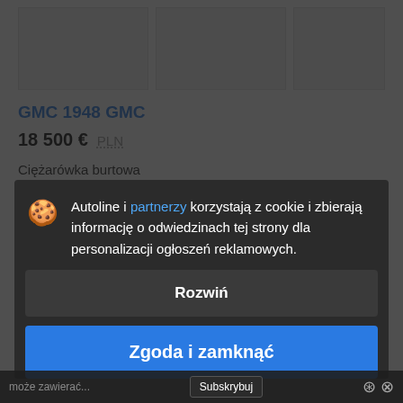[Figure (photo): Three placeholder image thumbnails in a row for vehicle listing]
GMC 1948 GMC
18 500 €   PLN
Ciężarówka burtowa
Rok: 1948-06-01   Przebieg: 1 km
Autoline i partnerzy korzystają z cookie i zbierają informację o odwiedzinach tej strony dla personalizacji ogłoszeń reklamowych.
Rozwiń
Zgoda i zamknąć